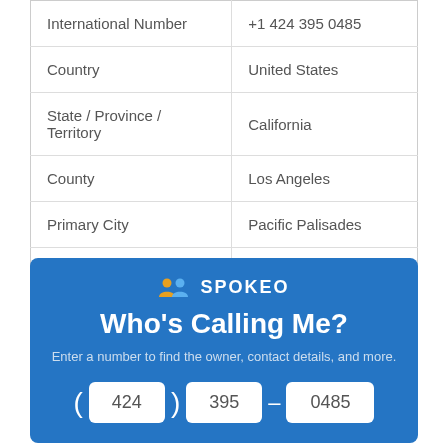|  |  |
| --- | --- |
| International Number | +1 424 395 0485 |
| Country | United States |
| State / Province / Territory | California |
| County | Los Angeles |
| Primary City | Pacific Palisades |
| Company / Carrier | T-MOBILE USA, INC. |
| Prefix (NXX) Type | Wireless |
[Figure (infographic): Spokeo 'Who's Calling Me?' widget with logo, tagline, and phone number input fields showing (424) 395-0485]